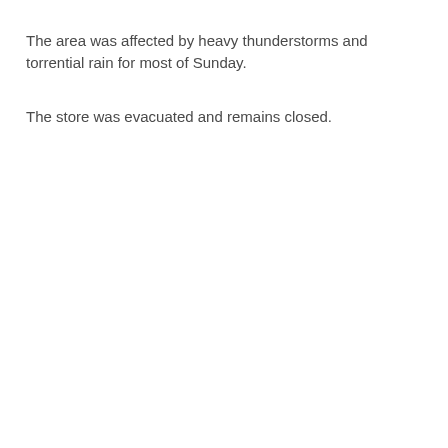The area was affected by heavy thunderstorms and torrential rain for most of Sunday.
The store was evacuated and remains closed.